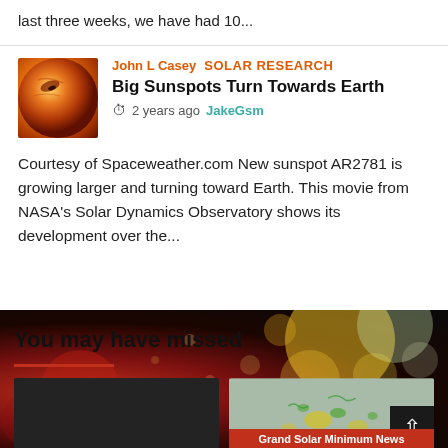last three weeks, we have had 10...
John L Casey  SOLAR RESEARCH
Big Sunspots Turn Towards Earth
2 years ago  JakeGsm
Courtesy of Spaceweather.com New sunspot AR2781 is growing larger and turning toward Earth. This movie from NASA's Solar Dynamics Observatory shows its development over the...
You may have missed
[Figure (photo): Dark/black image placeholder card]
[Figure (photo): Solar map image showing magnetic field activity with yellow and green markers, labeled Grand Solar Minimum News]